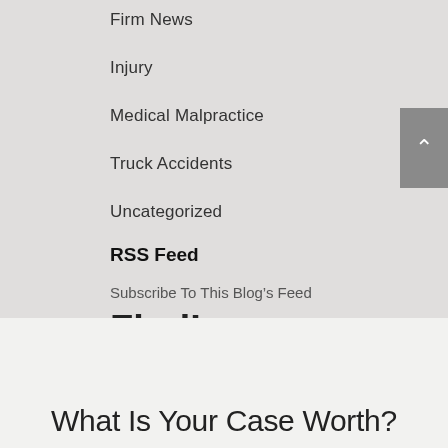Firm News
Injury
Medical Malpractice
Truck Accidents
Uncategorized
RSS Feed
Subscribe To This Blog's Feed
[Figure (logo): FindLaw Network logo]
What Is Your Case Worth?